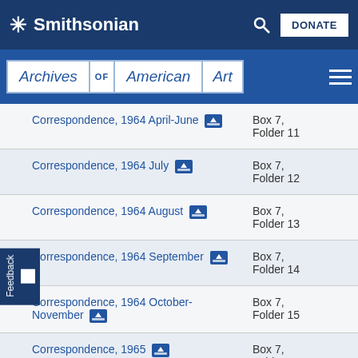Smithsonian
Archives of American Art
| Item | Box/Folder | Select |
| --- | --- | --- |
| Correspondence, 1964 April-June | Box 7, Folder 11 |  |
| Correspondence, 1964 July | Box 7, Folder 12 |  |
| Correspondence, 1964 August | Box 7, Folder 13 |  |
| Correspondence, 1964 September | Box 7, Folder 14 |  |
| Correspondence, 1964 October-November | Box 7, Folder 15 |  |
| Correspondence, 1965 | Box 7, Folder 16 |  |